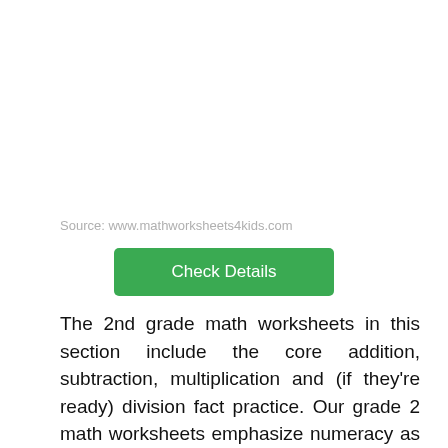Source: www.mathworksheets4kids.com
Check Details
The 2nd grade math worksheets in this section include the core addition, subtraction, multiplication and (if they're ready) division fact practice. Our grade 2 math worksheets emphasize numeracy as well as a conceptual understanding of math concepts.